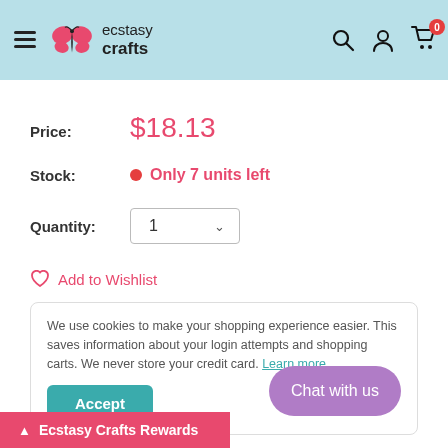[Figure (screenshot): Ecstasy Crafts e-commerce website header with hamburger menu, pink butterfly logo, ecstasy crafts text, and icons for search, account, and cart (0 items)]
Price:  $18.13
Stock:  • Only 7 units left
Quantity:  1
♡  Add to Wishlist
We use cookies to make your shopping experience easier. This saves information about your login attempts and shopping carts. We never store your credit card. Learn more.
Accept
Chat with us
^ Ecstasy Crafts Rewards